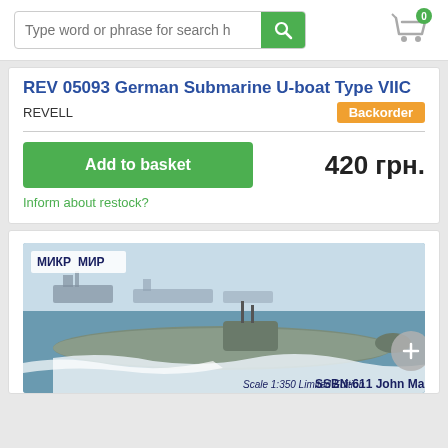Type word or phrase for search h
REV 05093 German Submarine U-boat Type VIIC
REVELL
Backorder
Add to basket
420 грн.
Inform about restock?
[Figure (illustration): Box art illustration of Micro Mir SSBN-611 John Marshall submarine model kit, showing a submarine moving through choppy ocean water with ships in the background. Logo reads MIKR MIR. Text at bottom right: SSBN-611 John Marshall]